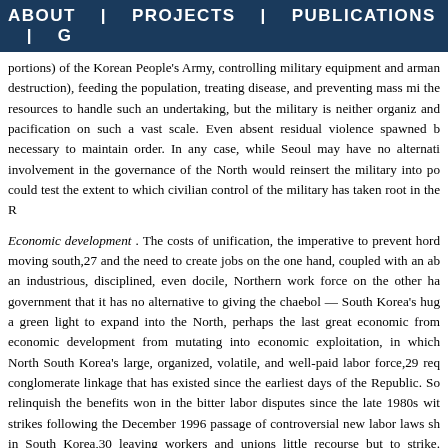ABOUT | PROJECTS | PUBLICATIONS | G
portions) of the Korean People's Army, controlling military equipment and arman destruction), feeding the population, treating disease, and preventing mass mi the resources to handle such an undertaking, but the military is neither organiz and pacification on such a vast scale. Even absent residual violence spawned b necessary to maintain order. In any case, while Seoul may have no alternati involvement in the governance of the North would reinsert the military into po could test the extent to which civilian control of the military has taken root in the R
Economic development . The costs of unification, the imperative to prevent hord moving south,27 and the need to create jobs on the one hand, coupled with an ab an industrious, disciplined, even docile, Northern work force on the other ha government that it has no alternative to giving the chaebol — South Korea's hug a green light to expand into the North, perhaps the last great economic from economic development from mutating into economic exploitation, in which North South Korea's large, organized, volatile, and well-paid labor force,29 req conglomerate linkage that has existed since the earliest days of the Republic. So relinquish the benefits won in the bitter labor disputes since the late 1980s wit strikes following the December 1996 passage of controversial new labor laws sh in South Korea,30 leaving workers and unions little recourse but to strike. Injectin exploitable labor pool into the job market could push the combustible chaebol-wo